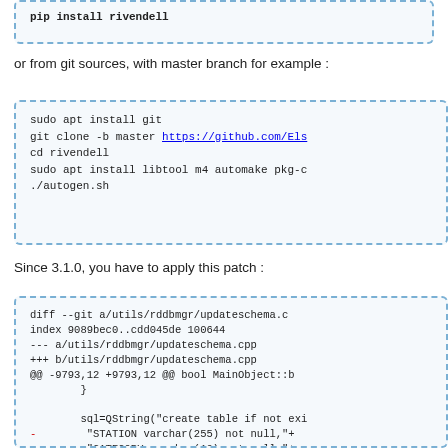[Figure (screenshot): Top code box (partially visible): pip install command snippet]
or from git sources, with master branch for example :
[Figure (screenshot): Code box with git clone and build commands: sudo apt install git, git clone -b master https://github.com/Elo..., cd rivendell, sudo apt install libtool m4 automake pkg-c..., ./autogen.sh]
Since 3.1.0, you have to apply this patch :
[Figure (screenshot): Diff patch code box showing changes to utils/rddbmgr/updateschema.cpp, index 9089bec0..cdd045de 100644, with diff lines for STATION, CATEGORY, AUTO_MERGE, RD_SERVICE, RD_GROUP_NAME columns]